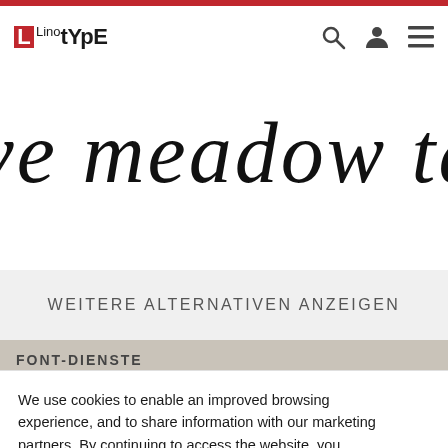Linotype — Navigation header with logo, search, account, and menu icons
[Figure (screenshot): Large italic font display text showing decorative letterforms in a serif italic typeface, partially cropped]
WEITERE ALTERNATIVEN ANZEIGEN
FONT-DIENSTE
We use cookies to enable an improved browsing experience, and to share information with our marketing partners. By continuing to access the website, you agree that we will store data in a cookie as outlined in our Privacy Policy.
Cookies Settings
Accept Cookies